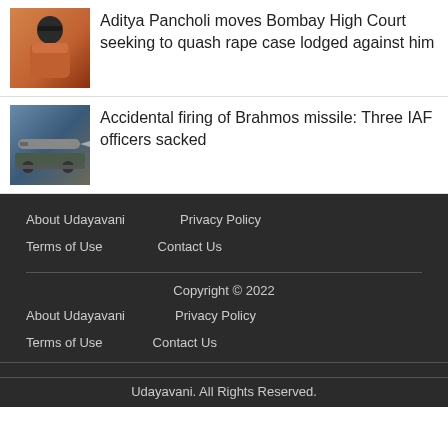[Figure (photo): Thumbnail photo of Aditya Pancholi, man in orange shirt with sunglasses]
Aditya Pancholi moves Bombay High Court seeking to quash rape case lodged against him
[Figure (photo): Thumbnail photo of Brahmos missile on a vehicle/launcher]
Accidental firing of Brahmos missile: Three IAF officers sacked
About Udayavani
Privacy Policy
Terms of Use
Contact Us
Copyright © 2022
About Udayavani
Privacy Policy
Terms of Use
Contact Us
Udayavani. All Rights Reserved.